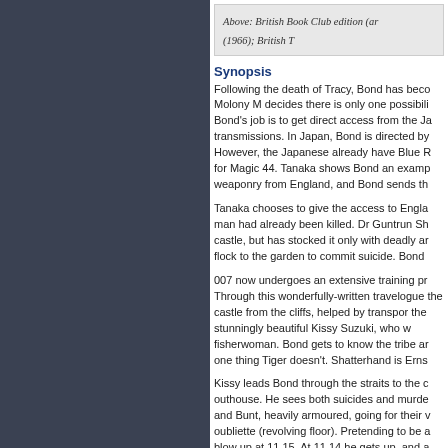Above: British Book Club edition (ar (1966); British T
Synopsis
Following the death of Tracy, Bond has beco Molony M decides there is only one possibili Bond's job is to get direct access from the Ja transmissions. In Japan, Bond is directed by However, the Japanese already have Blue R for Magic 44. Tanaka shows Bond an examp weaponry from England, and Bond sends th
Tanaka chooses to give the access to Engla man had already been killed. Dr Guntrun Sh castle, but has stocked it only with deadly ar flock to the garden to commit suicide. Bond
007 now undergoes an extensive training pr Through this wonderfully-written travelogue the castle from the cliffs, helped by transpor the stunningly beautiful Kissy Suzuki, who w fisherwoman. Bond gets to know the tribe ar one thing Tiger doesn't. Shatterhand is Erns
Kissy leads Bond through the straits to the c outhouse. He sees both suicides and murde and Bunt, heavily armoured, going for their v oubliette (revolving floor). Pretending to be a blow up at 11.15. At 11.14 he gets up, and a Samurai sword. They duel, Bond defending